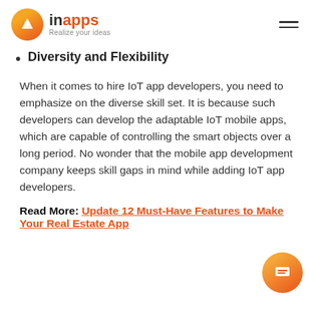inapps - Realize your ideas
Diversity and Flexibility
When it comes to hire IoT app developers, you need to emphasize on the diverse skill set. It is because such developers can develop the adaptable IoT mobile apps, which are capable of controlling the smart objects over a long period. No wonder that the mobile app development company keeps skill gaps in mind while adding IoT app developers.
Read More: Update 12 Must-Have Features to Make Your Real Estate App